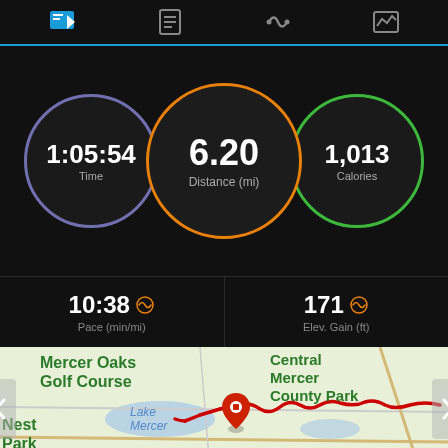[Figure (screenshot): Fitness tracking app (Garmin) showing run stats: Time 1:05:54, Distance 6.20 mi, Calories 1,013, Pace 10:38 min/mi, Elevation Gain 171 ft, with a map showing a running route near Lake Mercer, Mercer County Park, NJ]
1:05:54 Time
6.20 Distance (mi)
1,013 Calories
10:38 Pace (min/mi)
171 Elev. Gain (ft)
[Figure (map): Map showing running route near Lake Mercer, Mercer Oaks Golf Course, Central Mercer County Park, Nest Park area, Edinbur(gh area). Red route line traces path from start/finish marker.]